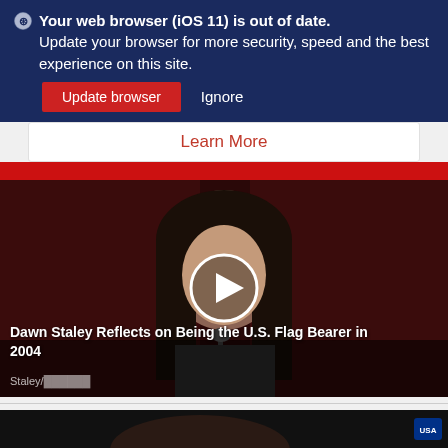Your web browser (iOS 11) is out of date. Update your browser for more security, speed and the best experience on this site.
Update browser   Ignore
Learn More
[Figure (screenshot): Video thumbnail of a woman with long dark hair looking down at a microphone, with a play button overlay. Caption reads: Dawn Staley Reflects on Being the U.S. Flag Bearer in 2004. Watermark text: Staley/[name]]
[Figure (screenshot): Second video thumbnail, partially visible, dark image with a USA logo in the upper right corner.]